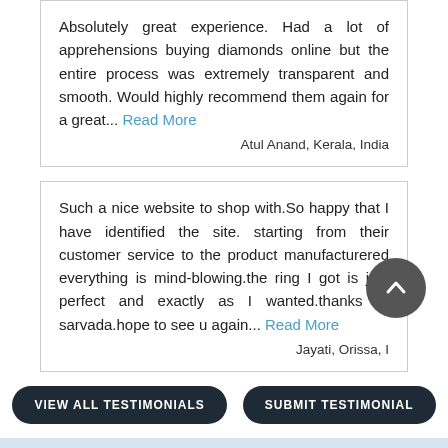Absolutely great experience. Had a lot of apprehensions buying diamonds online but the entire process was extremely transparent and smooth. Would highly recommend them again for a great... Read More
Atul Anand, Kerala, India
Such a nice website to shop with.So happy that I have identified the site. starting from their customer service to the product manufacturered everything is mind-blowing.the ring I got is just perfect and exactly as I wanted.thanks to sarvada.hope to see u again... Read More
Jayati, Orissa, I...
VIEW ALL TESTIMONIALS
SUBMIT TESTIMONIAL
NEWSLETTER